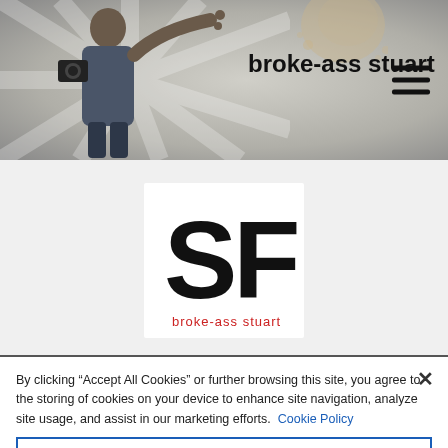[Figure (screenshot): Broke-Ass Stuart website header with person photo, brand name 'broke-ass stuart', coffee stain graphic, and hamburger menu icon]
[Figure (logo): SF broke-ass stuart logo — large bold 'SF' letters in black with 'broke-ass stuart' text below in red/black]
By clicking "Accept All Cookies" or further browsing this site, you agree to the storing of cookies on your device to enhance site navigation, analyze site usage, and assist in our marketing efforts. Cookie Policy
Cookies Settings
Reject All
Accept All Cookies